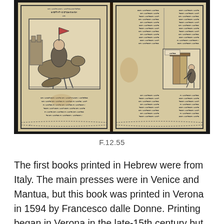[Figure (photo): Open Hebrew book with woodcut illustrations. Left page shows a mounted knight/warrior figure with text in Hebrew script and decorative border. Right page shows Hebrew text columns and a smaller woodcut illustration of a figure at a doorway. The book is aged with staining, on a dark background.]
F.12.55
The first books printed in Hebrew were from Italy. The main presses were in Venice and Mantua, but this book was printed in Verona in 1594 by Francesco dalle Donne. Printing began in Verona in the late-15th century but Francesco was the first printer to produce books in Hebrew there. This mattitlechat